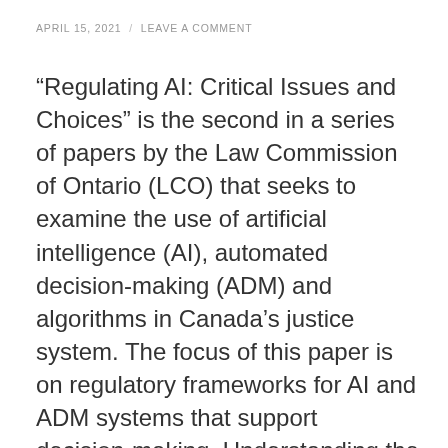APRIL 15, 2021 / LEAVE A COMMENT
“Regulating AI: Critical Issues and Choices” is the second in a series of papers by the Law Commission of Ontario (LCO) that seeks to examine the use of artificial intelligence (AI), automated decision-making (ADM) and algorithms in Canada’s justice system. The focus of this paper is on regulatory frameworks for AI and ADM systems that support decision-making. Understanding the implications of AI and ADM systems and how to regulate them has become increasingly important in Canada and throughout the world. This paper contemplates a range of important questions surrounding the regulation of these systems, including: how AI and ADM should be defined for regulatory purposes; how